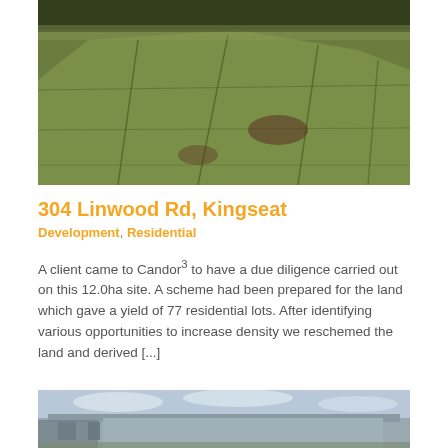[Figure (photo): Aerial drone photograph of a large flat grassy field/land parcel approximately 12ha in size, showing grid-like patterns on the ground, taken from above at an angle.]
304 Linwood Rd, Kingseat
Development, Residential
A client came to Candor³ to have a due diligence carried out on this 12.0ha site. A scheme had been prepared for the land which gave a yield of 77 residential lots. After identifying various opportunities to increase density we reschemed the land and derived [...]
[Figure (photo): Photograph of a large industrial warehouse or commercial building with grey/white exterior walls, taken from ground level with a cloudy sky behind.]